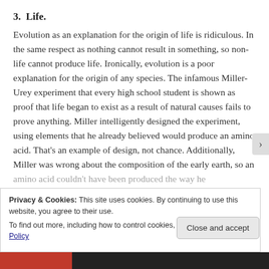3.  Life.
Evolution as an explanation for the origin of life is ridiculous. In the same respect as nothing cannot result in something, so non-life cannot produce life. Ironically, evolution is a poor explanation for the origin of any species. The infamous Miller-Urey experiment that every high school student is shown as proof that life began to exist as a result of natural causes fails to prove anything. Miller intelligently designed the experiment, using elements that he already believed would produce an amino acid. That's an example of design, not chance. Additionally, Miller was wrong about the composition of the early earth, so an amino acid couldn't have been produced the way he…
Privacy & Cookies: This site uses cookies. By continuing to use this website, you agree to their use.
To find out more, including how to control cookies, see here: Cookie Policy